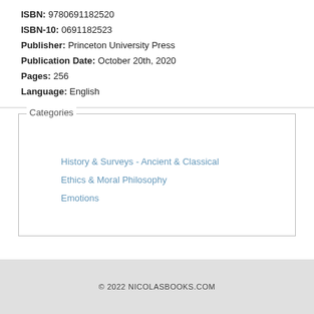ISBN: 9780691182520
ISBN-10: 0691182523
Publisher: Princeton University Press
Publication Date: October 20th, 2020
Pages: 256
Language: English
Categories
History & Surveys - Ancient & Classical
Ethics & Moral Philosophy
Emotions
© 2022 NICOLASBOOKS.COM